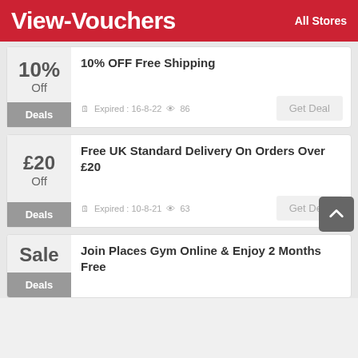View-Vouchers   All Stores
10% Off Deals — 10% OFF Free Shipping — Expired: 16-8-22 — Views: 86
£20 Off Deals — Free UK Standard Delivery On Orders Over £20 — Expired: 10-8-21 — Views: 63
Sale Deals — Join Places Gym Online & Enjoy 2 Months Free